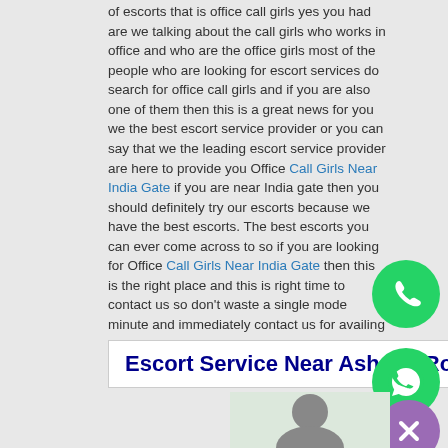of escorts that is office call girls yes you had are we talking about the call girls who works in office and who are the office girls most of the people who are looking for escort services do search for office call girls and if you are also one of them then this is a great news for you we the best escort service provider or you can say that we the leading escort service provider are here to provide you Office Call Girls Near India Gate if you are near India gate then you should definitely try our escorts because we have the best escorts. The best escorts you can ever come across to so if you are looking for Office Call Girls Near India Gate then this is the right place and this is right time to contact us so don't waste a single mode minute and immediately contact us for availing our best world class service.
[Figure (other): Green circle with phone icon (call button)]
Escort Service Near Ashoka Ro
[Figure (other): Green circle with WhatsApp icon]
[Figure (other): Purple circle with X (close) icon]
[Figure (photo): Partial photo of a person at the bottom of the page]